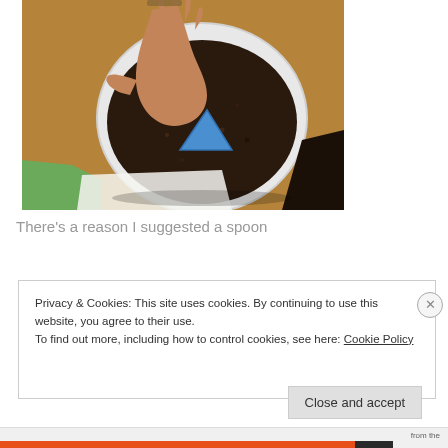[Figure (photo): Overhead view of a child's hand using a blue triangular object to dig or mix dark soil in a white bowl on a wooden table. Green clothing visible at bottom left, dark hair at bottom right, white paper beneath the bowl.]
There's a reason I suggested a spoon
Privacy & Cookies: This site uses cookies. By continuing to use this website, you agree to their use.
To find out more, including how to control cookies, see here: Cookie Policy
Close and accept